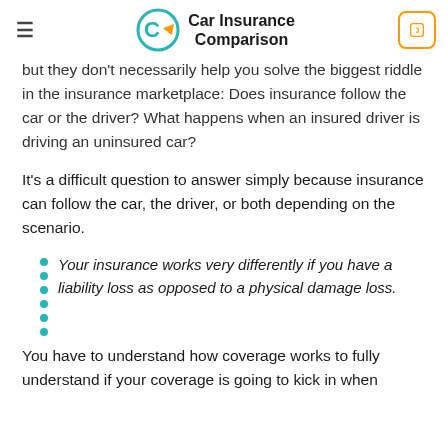Car Insurance Comparison
but they don't necessarily help you solve the biggest riddle in the insurance marketplace: Does insurance follow the car or the driver? What happens when an insured driver is driving an uninsured car?
It's a difficult question to answer simply because insurance can follow the car, the driver, or both depending on the scenario.
Your insurance works very differently if you have a liability loss as opposed to a physical damage loss.
You have to understand how coverage works to fully understand if your coverage is going to kick in when